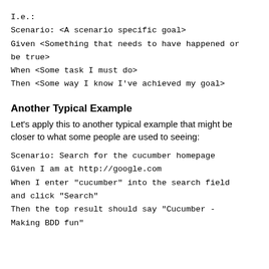I.e.:
Scenario: <A scenario specific goal>
Given <Something that needs to have happened or be true>
When <Some task I must do>
Then <Some way I know I've achieved my goal>
Another Typical Example
Let's apply this to another typical example that might be closer to what some people are used to seeing:
Scenario: Search for the cucumber homepage
Given I am at http://google.com
When I enter "cucumber" into the search field and click "Search"
Then the top result should say "Cucumber - Making BDD fun"